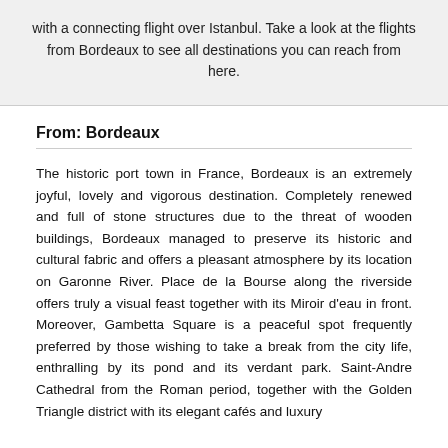with a connecting flight over Istanbul. Take a look at the flights from Bordeaux to see all destinations you can reach from here.
From: Bordeaux
The historic port town in France, Bordeaux is an extremely joyful, lovely and vigorous destination. Completely renewed and full of stone structures due to the threat of wooden buildings, Bordeaux managed to preserve its historic and cultural fabric and offers a pleasant atmosphere by its location on Garonne River. Place de la Bourse along the riverside offers truly a visual feast together with its Miroir d'eau in front. Moreover, Gambetta Square is a peaceful spot frequently preferred by those wishing to take a break from the city life, enthralling by its pond and its verdant park. Saint-Andre Cathedral from the Roman period, together with the Golden Triangle district with its elegant cafés and luxury